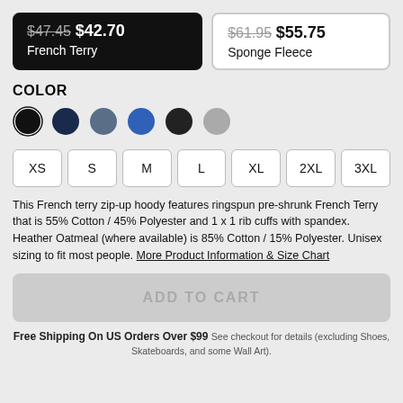$47.45 $42.70 French Terry
$61.95 $55.75 Sponge Fleece
COLOR
[Figure (infographic): Six color swatches: black (selected with ring), dark navy, slate blue, cobalt blue, very dark/black, light gray]
[Figure (infographic): Seven size buttons: XS, S, M, L, XL, 2XL, 3XL]
This French terry zip-up hoody features ringspun pre-shrunk French Terry that is 55% Cotton / 45% Polyester and 1 x 1 rib cuffs with spandex. Heather Oatmeal (where available) is 85% Cotton / 15% Polyester. Unisex sizing to fit most people. More Product Information & Size Chart
ADD TO CART
Free Shipping On US Orders Over $99 See checkout for details (excluding Shoes, Skateboards, and some Wall Art).